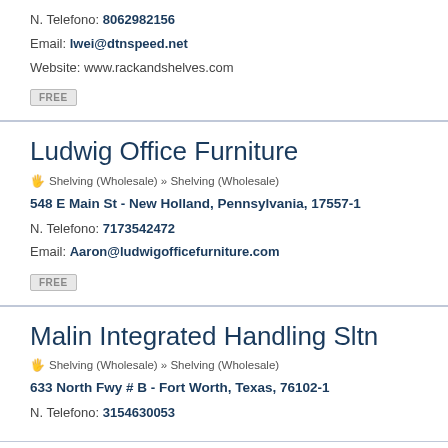N. Telefono: 8062982156
Email: lwei@dtnspeed.net
Website: www.rackandshelves.com
FREE
Ludwig Office Furniture
Shelving (Wholesale) » Shelving (Wholesale)
548 E Main St - New Holland, Pennsylvania, 17557-1
N. Telefono: 7173542472
Email: Aaron@ludwigofficefurniture.com
FREE
Malin Integrated Handling Sltn
Shelving (Wholesale) » Shelving (Wholesale)
633 North Fwy # B - Fort Worth, Texas, 76102-1
N. Telefono: 3154630053